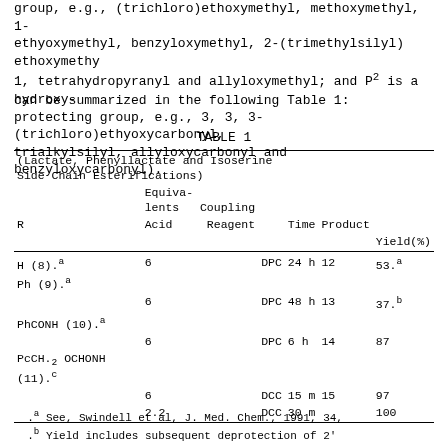group, e.g., (trichloro)ethoxymethyl, methoxymethyl, 1-ethyoxymethyl, benzyloxymethyl, 2-(trimethylsilyl) ethoxymethy1, tetrahydropyranyl and allyloxymethyl; and P.sup.2 is a hydroxy-protecting group, e.g., 3, 3, 3-(trichloro)ethyoxycarbonyl, trialkylsilyl, allyloxycarbonyl and benzyloxycarbonyl).
can be summarized in the following Table 1:
TABLE 1
| R | Equivalents Acid | Coupling Reagent | Time | Product Yield(%) |
| --- | --- | --- | --- | --- |
| H (8).sup.a | 6 | DPC | 24 h | 12 | 53.sup.a |
| Ph (9).sup.a | 6 | DPC | 48 h | 13 | 37.sup.b |
| PhCONH (10).sup.a | 6 | DPC | 6 h | 14 | 87 |
| PcCH.sub.2 OCHONH (11).sup.c | 6 | DCC | 15 m | 15 | 97 |
|  | 2.2 | DCC | 30 m |  | 100 |
.sup.a See, Swindell et al, J. Med. Chem., 1991, 34,
.sup.b Yield includes subsequent deprotection of 2'